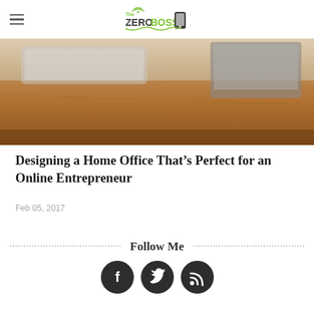ZeroBoss logo and hamburger menu
[Figure (photo): Photograph of a wooden desk with laptop and notebook, viewed from the side, warm brown tones]
Designing a Home Office That’s Perfect for an Online Entrepreneur
Feb 05, 2017
Follow Me
[Figure (infographic): Three circular dark social media icons: Facebook (f), Twitter (bird), RSS feed]